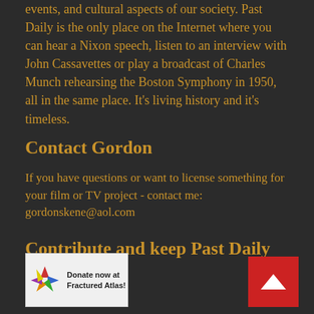events, and cultural aspects of our society. Past Daily is the only place on the Internet where you can hear a Nixon speech, listen to an interview with John Cassavettes or play a broadcast of Charles Munch rehearsing the Boston Symphony in 1950, all in the same place. It's living history and it's timeless.
Contact Gordon
If you have questions or want to license something for your film or TV project - contact me: gordonskene@aol.com
Contribute and keep Past Daily alive.
[Figure (logo): Donate now at Fractured Atlas button with colorful pinwheel logo]
[Figure (other): Red back-to-top button with white upward arrow]